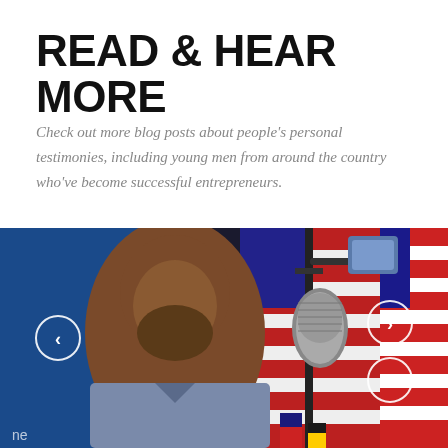READ & HEAR MORE
Check out more blog posts about people's personal testimonies, including young men from around the country who've become successful entrepreneurs.
[Figure (photo): A smiling man in a gray patterned button-up shirt in front of a microphone stand and an American flag, with navigation arrows on left and right sides of the image.]